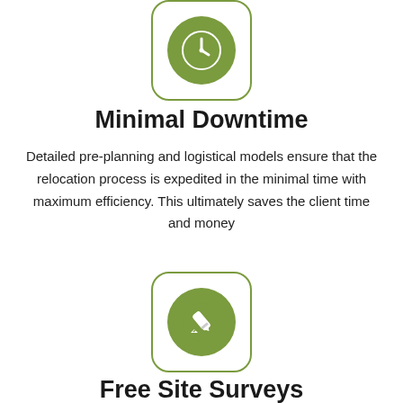[Figure (illustration): Clock icon inside a rounded square border, green circle background with white clock showing time]
Minimal Downtime
Detailed pre-planning and logistical models ensure that the relocation process is expedited in the minimal time with maximum efficiency. This ultimately saves the client time and money
[Figure (illustration): Pencil/edit icon inside a rounded square border, green circle background with white pencil]
Free Site Surveys
Dr Relo fully understand the complexities and concerns that a client has prior, during and after a